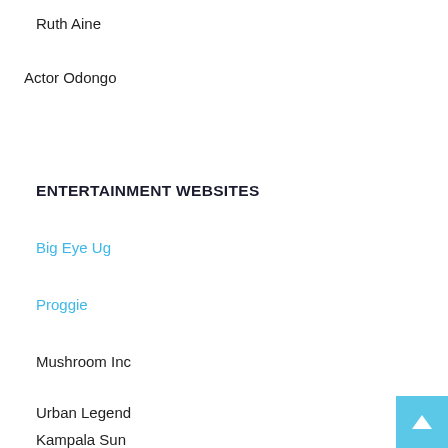Ruth Aine
Actor Odongo
ENTERTAINMENT WEBSITES
Big Eye Ug
Proggie
Mushroom Inc
Urban Legend
Kampala Sun